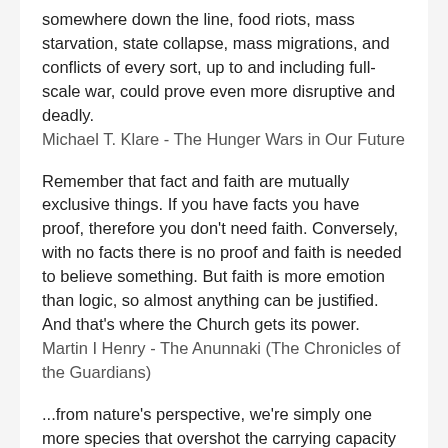somewhere down the line, food riots, mass starvation, state collapse, mass migrations, and conflicts of every sort, up to and including full-scale war, could prove even more disruptive and deadly.
Michael T. Klare - The Hunger Wars in Our Future
Remember that fact and faith are mutually exclusive things. If you have facts you have proof, therefore you don't need faith. Conversely, with no facts there is no proof and faith is needed to believe something. But faith is more emotion than logic, so almost anything can be justified. And that's where the Church gets its power.
Martin I Henry - The Anunnaki (The Chronicles of the Guardians)
...from nature's perspective, we're simply one more species that overshot the carrying capacity of its environment and is about to pay the routine price...
John Michael Greer - The Falling Years: An Inhumanist Vision
It is easy to forget how mysterious and mighty stories are. They do their work in silence, invisibly. They work